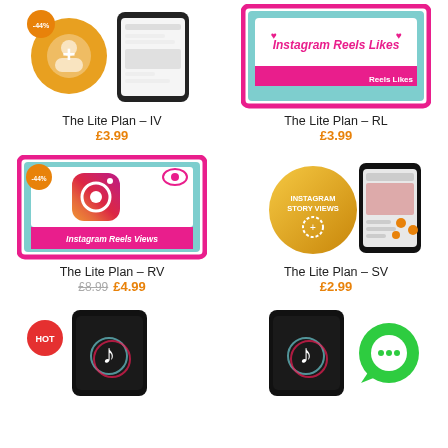[Figure (illustration): Instagram Views product image with orange icon and phone graphic, -44% badge]
The Lite Plan – IV
£3.99
[Figure (illustration): Instagram Reels Likes product image with pink/magenta border and text]
The Lite Plan – RL
£3.99
[Figure (illustration): Instagram Reels Views product image with magenta/teal border, camera icon, -44% badge]
The Lite Plan – RV
£8.99 £4.99
[Figure (illustration): Instagram Story Views product image with gold circle and phone mockup]
The Lite Plan – SV
£2.99
[Figure (illustration): TikTok product with HOT badge and phone graphic showing TikTok logo]
[Figure (illustration): TikTok product with green chat bubble and phone graphic showing TikTok logo]